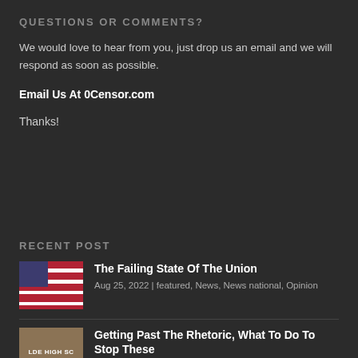QUESTIONS OR COMMENTS?
We would love to hear from you, just drop us an email and we will respond as soon as possible.
Email Us At 0Censor.com
Thanks!
RECENT POST
[Figure (photo): American flag thumbnail image]
The Failing State Of The Union
Aug 25, 2022 | featured, News, News national, Opinion
[Figure (photo): LDE HIGH SC thumbnail image]
Getting Past The Rhetoric, What To Do To Stop These